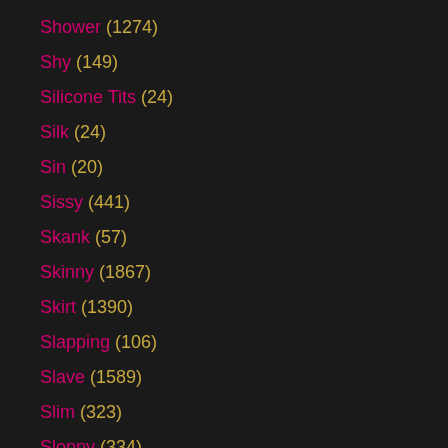Shower (1274)
Shy (149)
Silicone Tits (24)
Silk (24)
Sin (20)
Sissy (441)
Skank (57)
Skinny (1867)
Skirt (1390)
Slapping (106)
Slave (1589)
Slim (323)
Sloppy (334)
Slowly (25)
Slut (3938)